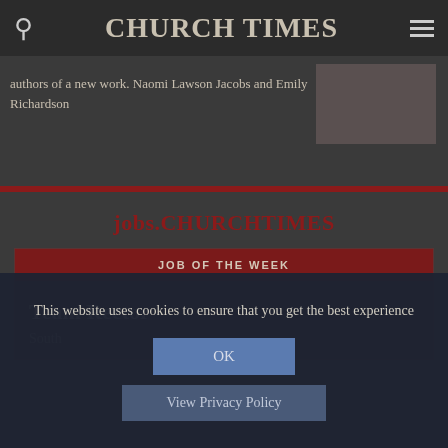CHURCH TIMES
authors of a new work. Naomi Lawson Jacobs and Emily Richardson
jobs.CHURCHTIMES
JOB OF THE WEEK
Team Rector
South
This website uses cookies to ensure that you get the best experience
OK
View Privacy Policy